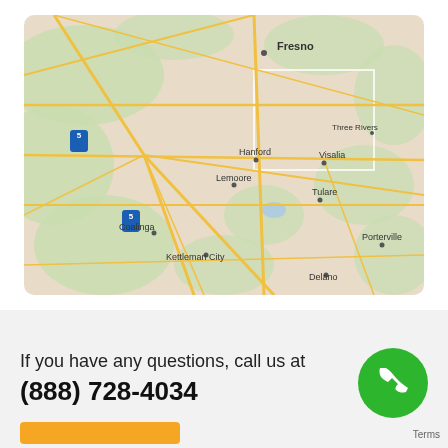[Figure (map): Google Maps screenshot showing central California including cities: Fresno, Hanford, Visalia, Three Rivers, Lemoore, Coalinga, Kettleman City, Tulare, Porterville, Delano. Major highways including I-5 are visible.]
If you have any questions, call us at (888) 728-4034